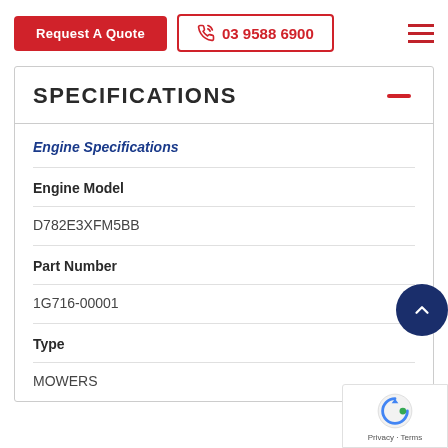Request A Quote | 03 9588 6900
SPECIFICATIONS
Engine Specifications
Engine Model
D782E3XFM5BB
Part Number
1G716-00001
Type
MOWERS